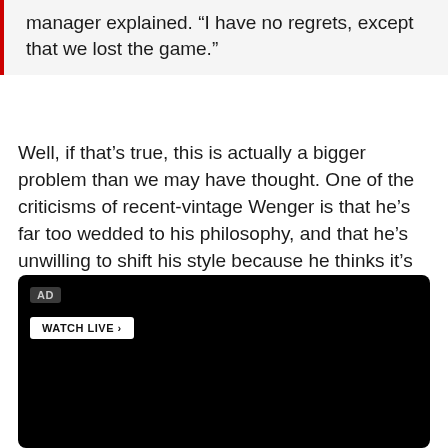manager explained. “I have no regrets, except that we lost the game.”
Well, if that’s true, this is actually a bigger problem than we may have thought. One of the criticisms of recent-vintage Wenger is that he’s far too wedded to his philosophy, and that he’s unwilling to shift his style because he thinks it’s what will work. Well, today, guess what? He shifted. It failed, and did so miserably.
[Figure (screenshot): A black video player embed with an AD label badge in the top-left corner and a WATCH LIVE › button below it.]